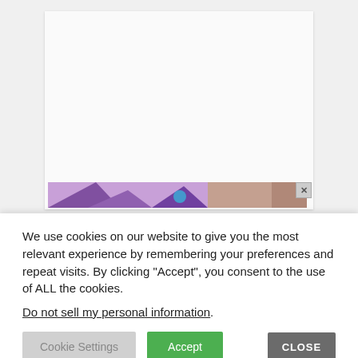[Figure (photo): A partially visible webpage with a white/light gray content card area. At the bottom of the card, a strip of a purple-themed image is visible, with an X close button. The page background is light gray.]
We use cookies on our website to give you the most relevant experience by remembering your preferences and repeat visits. By clicking “Accept”, you consent to the use of ALL the cookies.
Do not sell my personal information.
Cookie Settings
Accept
CLOSE